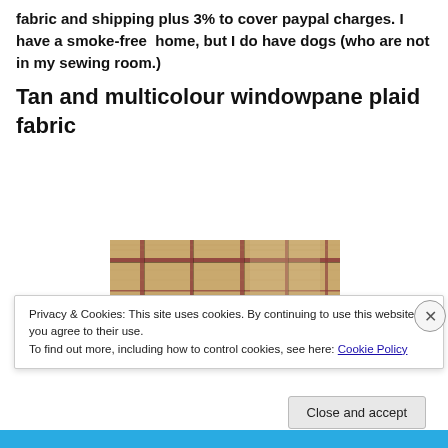fabric and shipping plus 3% to cover paypal charges. I have a smoke-free home, but I do have dogs (who are not in my sewing room.)
Tan and multicolour windowpane plaid fabric
[Figure (photo): Close-up photograph of tan and multicolour windowpane plaid woven fabric showing a grid pattern with reddish-brown and dark stripes on a tan/beige background.]
Privacy & Cookies: This site uses cookies. By continuing to use this website, you agree to their use.
To find out more, including how to control cookies, see here: Cookie Policy
Close and accept